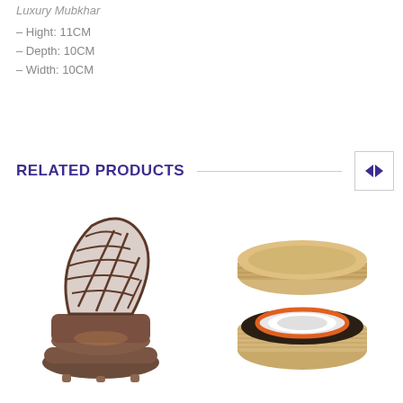Luxury Mubkhar
– Hight: 11CM
– Depth: 10CM
– Width: 10CM
RELATED PRODUCTS
[Figure (photo): Decorative metal incense burner (mubkhar) with geometric lattice design, bronze/dark brown finish, on small feet]
[Figure (photo): Circular bamboo container opened to reveal inner tin with orange and white label containing dark tea leaves or incense]